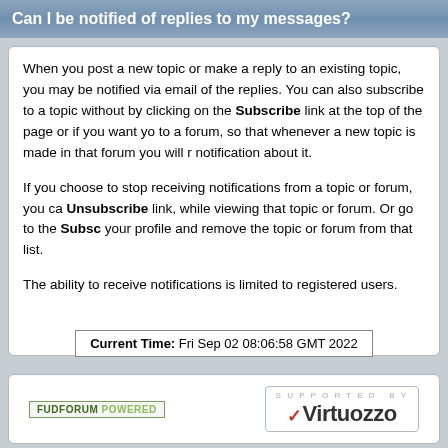Can I be notified of replies to my messages?
When you post a new topic or make a reply to an existing topic, you may be notified via email of the replies. You can also subscribe to a topic without by clicking on the Subscribe link at the top of the page or if you want yo to a forum, so that whenever a new topic is made in that forum you will r notification about it.
If you choose to stop receiving notifications from a topic or forum, you ca Unsubscribe link, while viewing that topic or forum. Or go to the Subsc your profile and remove the topic or forum from that list.
The ability to receive notifications is limited to registered users.
Current Time: Fri Sep 02 08:06:58 GMT 2022
FUDFORUM POWERED | Supported by Virtuozzo